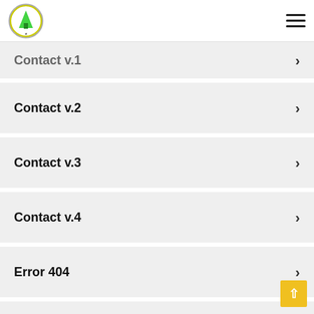Logo and navigation hamburger menu
Contact v.1 >
Contact v.2 >
Contact v.3 >
Contact v.4 >
Error 404 >
Shop >